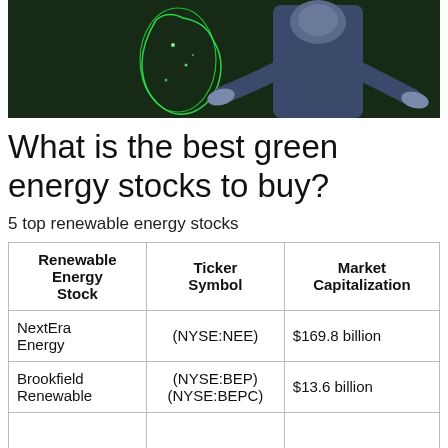[Figure (photo): Photo of a man in a dark sweater with hands outstretched, with a dark green background showing a glowing map.]
What is the best green energy stocks to buy?
5 top renewable energy stocks
| Renewable Energy Stock | Ticker Symbol | Market Capitalization |
| --- | --- | --- |
| NextEra Energy | (NYSE:NEE) | $169.8 billion |
| Brookfield Renewable | (NYSE:BEP) (NYSE:BEPC) | $13.6 billion |
|  |  |  |